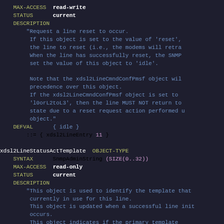MAX-ACCESS read-write
    STATUS     current
    DESCRIPTION
        "Request a line reset to occur.
         If this object is set to the value of 'reset',
         the line to reset (i.e., the modems will retra
         When the line has successfully reset, the SNMP
         set the value of this object to 'idle'.

         Note that the xdsl2LineCmndConfPmsf object will
         precedence over this object.
         If the xdsl2LineCmndConfPmsf object is set to t
         'l0orL2toL3', then the line MUST NOT return to
         state due to a reset request action performed u
         object."
    DEFVAL      { idle }
        ::= { xdsl2LineEntry 11 }

xdsl2LineStatusActTemplate  OBJECT-TYPE
    SYNTAX      SnmpAdminString (SIZE(0..32))
    MAX-ACCESS  read-only
    STATUS      current
    DESCRIPTION
        "This object is used to identify the template that
         currently in use for this line.
         This object is updated when a successful line init
         occurs.
         This object indicates if the primary template
         (xdsl2LineConfTemplate) is in use or the fall-back
         (xdsl2LineConfFallbackTemplate) is in use.